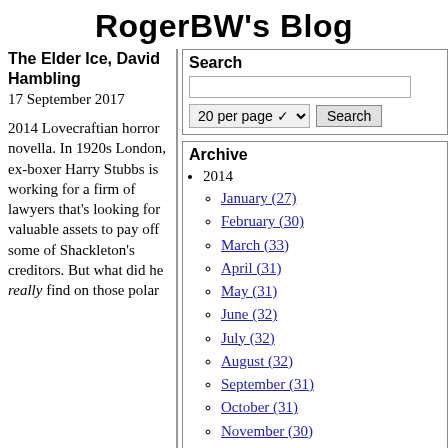RogerBW's Blog
The Elder Ice, David Hambling
17 September 2017
2014 Lovecraftian horror novella. In 1920s London, ex-boxer Harry Stubbs is working for a firm of lawyers that's looking for valuable assets to pay off some of Shackleton's creditors. But what did he really find on those polar
Search
Archive
2014
January (27)
February (30)
March (33)
April (31)
May (31)
June (32)
July (32)
August (32)
September (31)
October (31)
November (30)
December (31)
2015
January (32)
February (28)